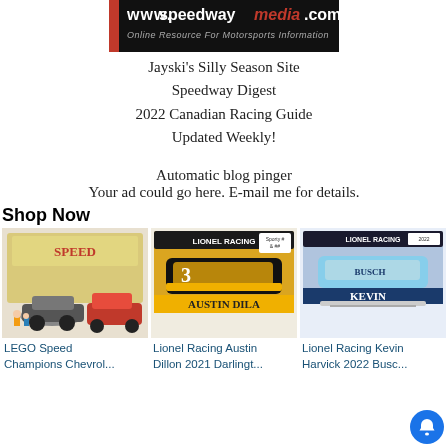[Figure (logo): Speedway Media logo with website URL www.speedwaymedia.com and tagline 'Online Resource For Motorsports Information']
Jayski's Silly Season Site
Speedway Digest
2022 Canadian Racing Guide
Updated Weekly!
Automatic blog pinger
Your ad could go here. E-mail me for details.
Shop Now
[Figure (photo): LEGO Speed Champions Chevrolet product box and car models]
LEGO Speed Champions Chevrol...
[Figure (photo): Lionel Racing Austin Dillon 2021 Darlington diecast car in packaging]
Lionel Racing Austin Dillon 2021 Darlingt...
[Figure (photo): Lionel Racing Kevin Harvick 2022 Busch diecast car in packaging]
Lionel Racing Kevin Harvick 2022 Busc...